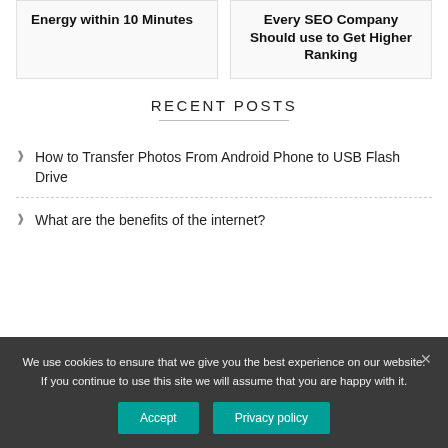Energy within 10 Minutes
Every SEO Company Should use to Get Higher Ranking
RECENT POSTS
How to Transfer Photos From Android Phone to USB Flash Drive
What are the benefits of the internet?
We use cookies to ensure that we give you the best experience on our website. If you continue to use this site we will assume that you are happy with it.
Accept
Privacy policy